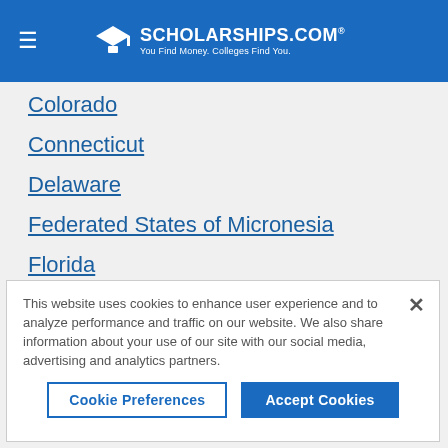SCHOLARSHIPS.COM® — You Find Money. Colleges Find You.
Colorado
Connecticut
Delaware
Federated States of Micronesia
Florida
Georgia
Guam
This website uses cookies to enhance user experience and to analyze performance and traffic on our website. We also share information about your use of our site with our social media, advertising and analytics partners.
Cookie Preferences | Accept Cookies